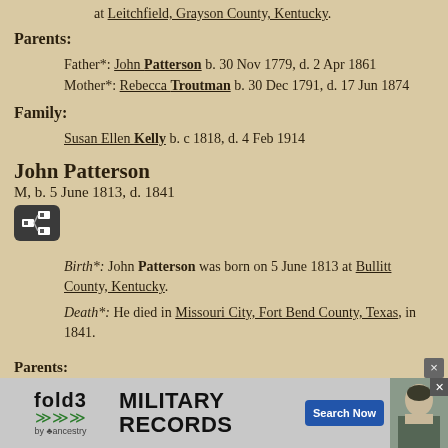at Leitchfield, Grayson County, Kentucky.
Parents:
Father*: John Patterson b. 30 Nov 1779, d. 2 Apr 1861
Mother*: Rebecca Troutman b. 30 Dec 1791, d. 17 Jun 1874
Family:
Susan Ellen Kelly b. c 1818, d. 4 Feb 1914
John Patterson
M, b. 5 June 1813, d. 1841
Birth*: John Patterson was born on 5 June 1813 at Bullitt County, Kentucky.
Death*: He died in Missouri City, Fort Bend County, Texas, in 1841.
Parents:
[Figure (infographic): Fold3 Military Records advertisement banner with logo, Search Now button, and soldier photo]